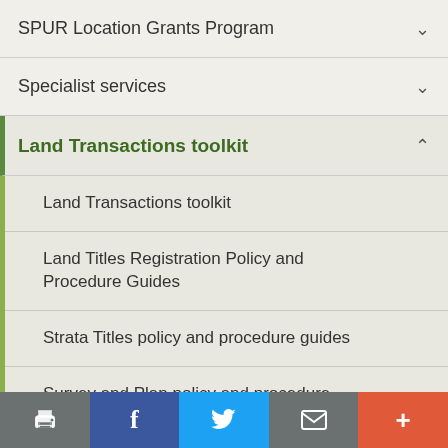SPUR Location Grants Program
Specialist services
Land Transactions toolkit (expanded)
Land Transactions toolkit
Land Titles Registration Policy and Procedure Guides
Strata Titles policy and procedure guides
Survey and Plan policy and procedure guides
Land Transactions Forms and Fees